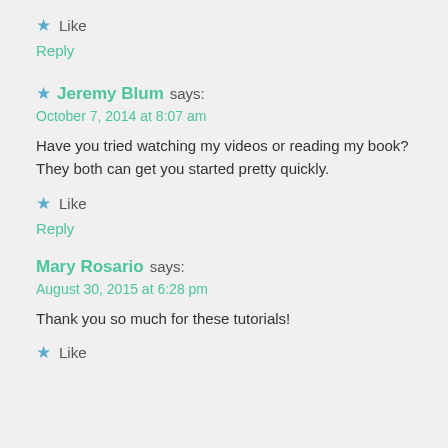Like
Reply
Jeremy Blum says:
October 7, 2014 at 8:07 am
Have you tried watching my videos or reading my book? They both can get you started pretty quickly.
Like
Reply
Mary Rosario says:
August 30, 2015 at 6:28 pm
Thank you so much for these tutorials!
Like